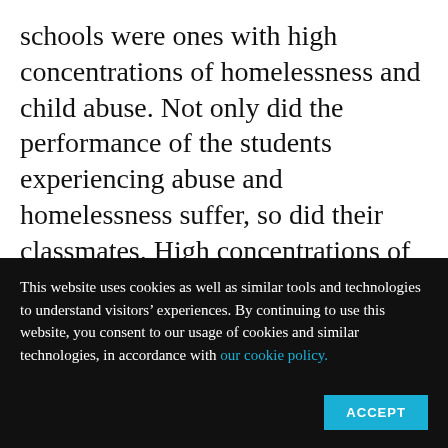schools were ones with high concentrations of homelessness and child abuse. Not only did the performance of the students experiencing abuse and homelessness suffer, so did their classmates. High concentrations of students whose mothers did not complete high school were similarly harmful. The whole grade level had lower achievement.
“It’s not poverty itself that predicts
This website uses cookies as well as similar tools and technologies to understand visitors’ experiences. By continuing to use this website, you consent to our usage of cookies and similar technologies, in accordance with our cookie policy.